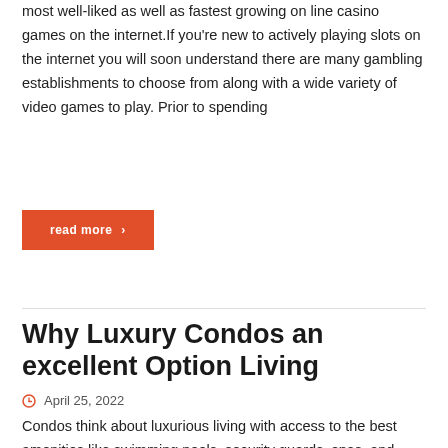most well-liked as well as fastest growing on line casino games on the internet.If you're new to actively playing slots on the internet you will soon understand there are many gambling establishments to choose from along with a wide variety of video games to play. Prior to spending
read more ›
Why Luxury Condos an excellent Option Living
April 25, 2022
Condos think about luxurious living with access to the best amenities like swimming pools, security guards, spas, and tennis courts. To numerous people, having the capacity to own your condo is preferable to renting a flat or even owning your house. There are many benefits to owing your own personal luxury condo. Depending on how much you have to s